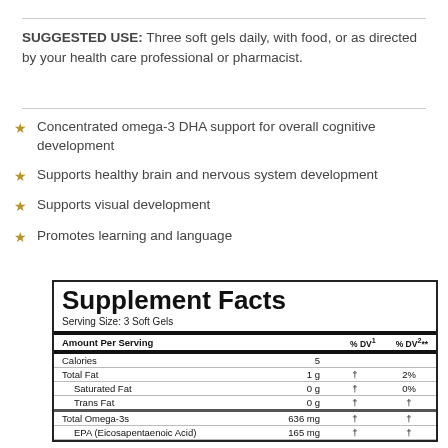SUGGESTED USE: Three soft gels daily, with food, or as directed by your health care professional or pharmacist.
Concentrated omega-3 DHA support for overall cognitive development
Supports healthy brain and nervous system development
Supports visual development
Promotes learning and language
| Amount Per Serving |  | % DV¹ | % DV²** |
| --- | --- | --- | --- |
| Calories | 5 |  |  |
| Total Fat | 1 g | † | 2% |
| Saturated Fat | 0 g | † | 0% |
| Trans Fat | 0 g | † | † |
| Total Omega-3s | 636 mg | † | † |
| EPA (Eicosapentaenoic Acid) | 165 mg | † | † |